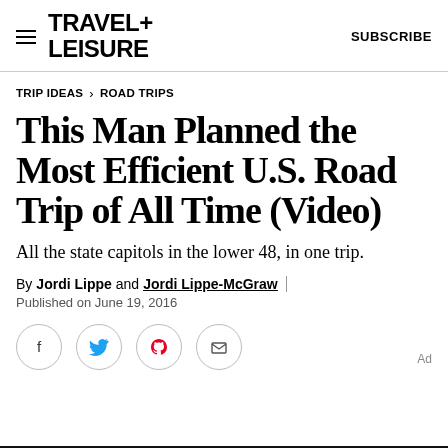TRAVEL+ LEISURE | SUBSCRIBE
TRIP IDEAS > ROAD TRIPS
This Man Planned the Most Efficient U.S. Road Trip of All Time (Video)
All the state capitols in the lower 48, in one trip.
By Jordi Lippe and Jordi Lippe-McGraw
Published on June 19, 2016